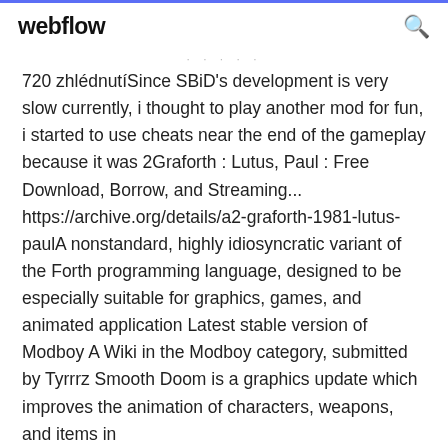webflow
720 zhlédnutiSince SBiD's development is very slow currently, i thought to play another mod for fun, i started to use cheats near the end of the gameplay because it was 2Graforth : Lutus, Paul : Free Download, Borrow, and Streaming... https://archive.org/details/a2-graforth-1981-lutus-paulA nonstandard, highly idiosyncratic variant of the Forth programming language, designed to be especially suitable for graphics, games, and animated application Latest stable version of Modboy A Wiki in the Modboy category, submitted by Tyrrrz Smooth Doom is a graphics update which improves the animation of characters, weapons, and items in